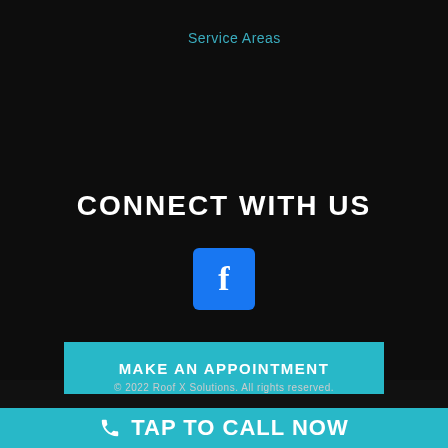Service Areas
CONNECT WITH US
[Figure (logo): Facebook icon — blue rounded square with white letter f]
MAKE AN APPOINTMENT
© 2022 Roof X Solutions. All rights reserved.
TAP TO CALL NOW